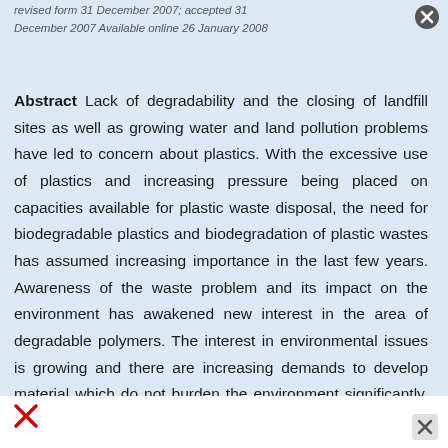revised form 31 December 2007; accepted 31 December 2007 Available online 26 January 2008
Abstract Lack of degradability and the closing of landfill sites as well as growing water and land pollution problems have led to concern about plastics. With the excessive use of plastics and increasing pressure being placed on capacities available for plastic waste disposal, the need for biodegradable plastics and biodegradation of plastic wastes has assumed increasing importance in the last few years. Awareness of the waste problem and its impact on the environment has awakened new interest in the area of degradable polymers. The interest in environmental issues is growing and there are increasing demands to develop material which do not burden the environment significantly. Biodegradation is necessary for water-soluble or water-immiscible